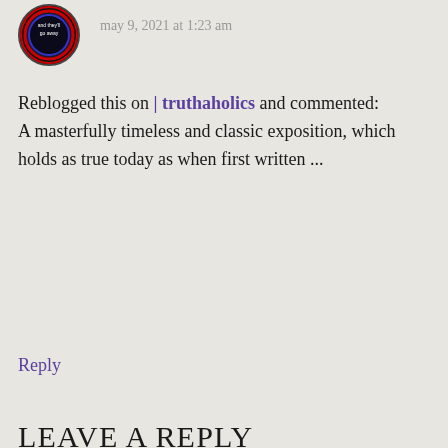[Figure (photo): Circular avatar/profile image with dark background and badge-like design with text 'and they'll go away']
may 9, 2021 at 1:23 am
Reblogged this on | truthaholics and commented:
A masterfully timeless and classic exposition, which holds as true today as when first written ...
Reply
LEAVE A REPLY
Your email address will not be published. Required fields are marked *
COMMENT
*